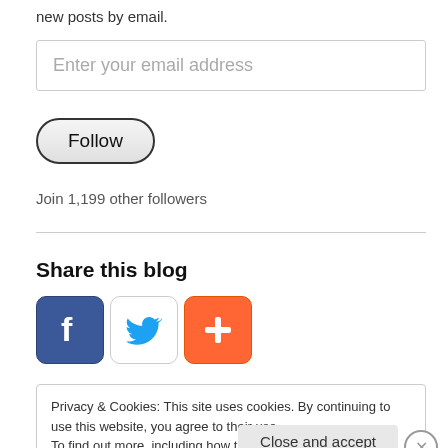new posts by email.
Enter your email address
Follow
Join 1,199 other followers
Share this blog
[Figure (illustration): Social sharing icons: Facebook, Twitter, and a red plus/share button]
Privacy & Cookies: This site uses cookies. By continuing to use this website, you agree to their use.
To find out more, including how to control cookies, see here: Cookie Policy
Close and accept